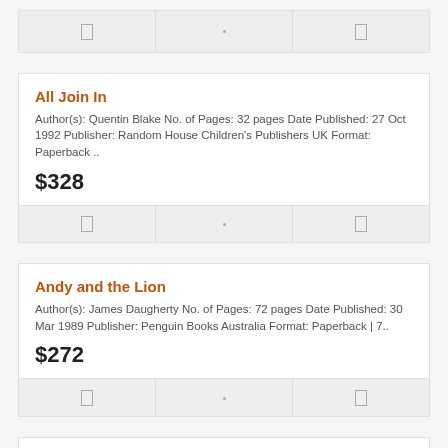| action1 | action2 | action3 |
| --- | --- | --- |
| □ | · | □ |
All Join In
Author(s): Quentin Blake No. of Pages: 32 pages Date Published: 27 Oct 1992 Publisher: Random House Children's Publishers UK Format: Paperback ..
$328
| action1 | action2 | action3 |
| --- | --- | --- |
| □ | · | □ |
Andy and the Lion
Author(s): James Daugherty No. of Pages: 72 pages Date Published: 30 Mar 1989 Publisher: Penguin Books Australia Format: Paperback | 7..
$272
| action1 | action2 | action3 |
| --- | --- | --- |
| □ | · | □ |
Around the Year